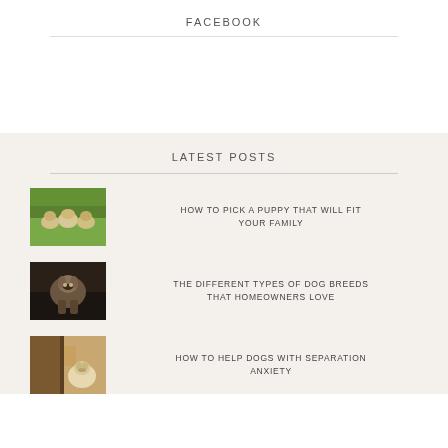FACEBOOK
LATEST POSTS
[Figure (photo): Three golden retriever puppies sitting on grass]
HOW TO PICK A PUPPY THAT WILL FIT YOUR FAMILY
[Figure (photo): A beagle dog standing outdoors in dark setting]
THE DIFFERENT TYPES OF DOG BREEDS THAT HOMEOWNERS LOVE
[Figure (photo): A dog near a door, separation anxiety context]
HOW TO HELP DOGS WITH SEPARATION ANXIETY